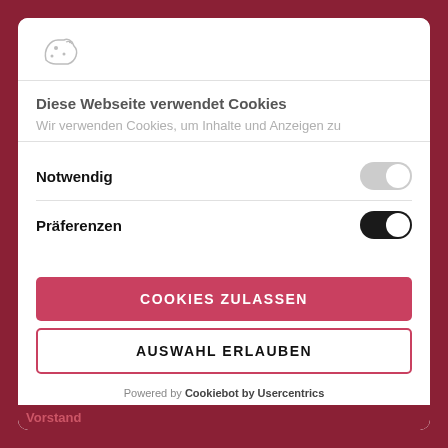[Figure (logo): Cookie/website logo icon in gray]
Diese Webseite verwendet Cookies
Wir verwenden Cookies, um Inhalte und Anzeigen zu
Notwendig
Präferenzen
COOKIES ZULASSEN
AUSWAHL ERLAUBEN
Powered by Cookiebot by Usercentrics
Vorstand